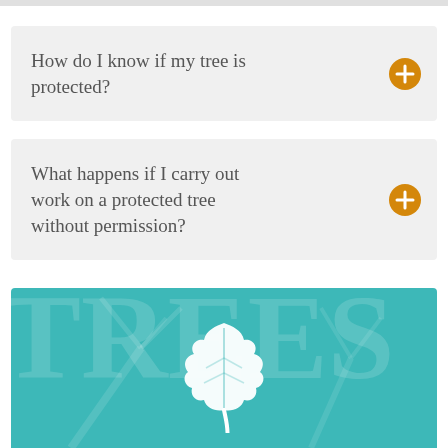How do I know if my tree is protected?
What happens if I carry out work on a protected tree without permission?
[Figure (illustration): Teal banner with a white oak leaf icon and faint tree silhouette watermark in background]